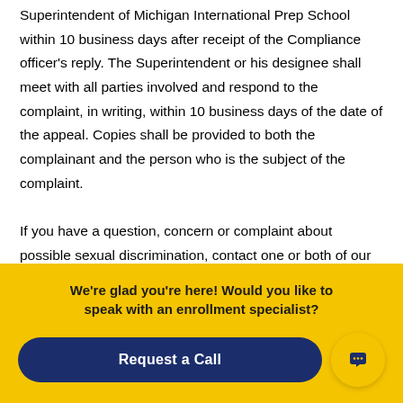Superintendent of Michigan International Prep School within 10 business days after receipt of the Compliance officer's reply. The Superintendent or his designee shall meet with all parties involved and respond to the complaint, in writing, within 10 business days of the date of the appeal. Copies shall be provided to both the complainant and the person who is the subject of the complaint.
If you have a question, concern or complaint about possible sexual discrimination, contact one or both of our Title IX Coordinators. Our Title IX Coordinators can provide you information about the grievance procedure, and investigate the
We're glad you're here! Would you like to speak with an enrollment specialist?
Request a Call